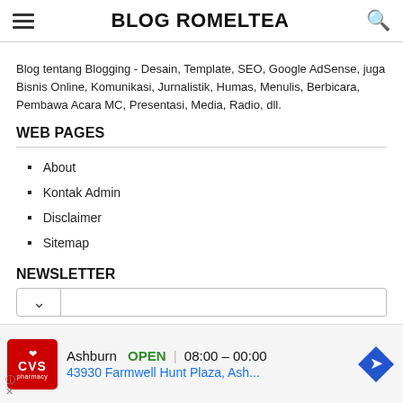BLOG ROMELTEA
Blog tentang Blogging - Desain, Template, SEO, Google AdSense, juga Bisnis Online, Komunikasi, Jurnalistik, Humas, Menulis, Berbicara, Pembawa Acara MC, Presentasi, Media, Radio, dll.
WEB PAGES
About
Kontak Admin
Disclaimer
Sitemap
NEWSLETTER
[Figure (screenshot): CVS Pharmacy advertisement banner showing Ashburn location, OPEN status, hours 08:00 - 00:00, and address 43930 Farmwell Hunt Plaza, Ash...]